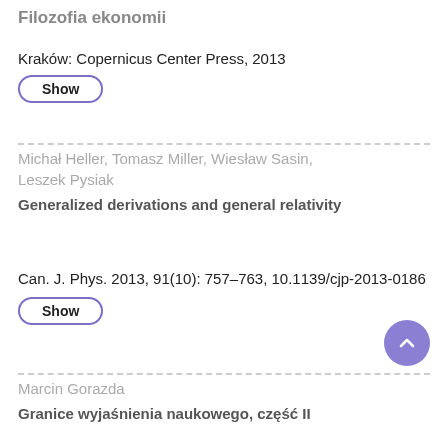Filozofia ekonomii
Kraków: Copernicus Center Press, 2013
Show
Michał Heller, Tomasz Miller, Wiesław Sasin, Leszek Pysiak
Generalized derivations and general relativity
Can. J. Phys. 2013, 91(10): 757–763, 10.1139/cjp-2013-0186
Show
Marcin Gorazda
Granice wyjaśnienia naukowego, część II